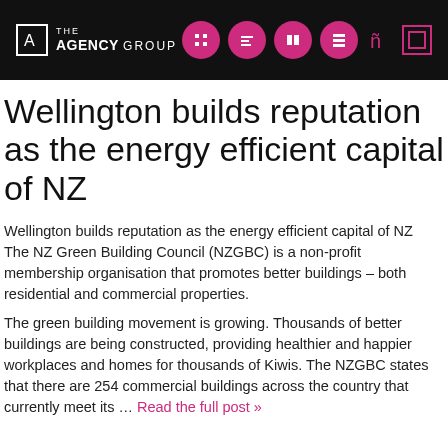THE AGENCY GROUP
Wellington builds reputation as the energy efficient capital of NZ
Wellington builds reputation as the energy efficient capital of NZ
The NZ Green Building Council (NZGBC) is a non-profit membership organisation that promotes better buildings – both residential and commercial properties.
The green building movement is growing. Thousands of better buildings are being constructed, providing healthier and happier workplaces and homes for thousands of Kiwis. The NZGBC states that there are 254 commercial buildings across the country that currently meet its … Read the full post »